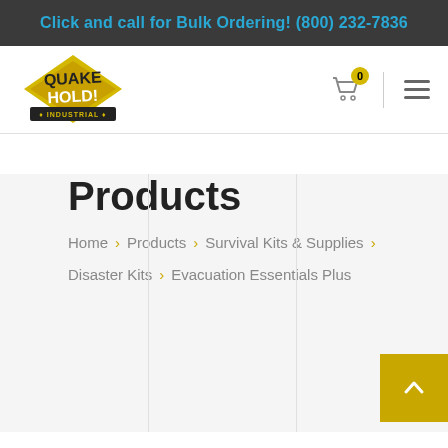Click and call for Bulk Ordering! (800) 232-7836
[Figure (logo): QuakeHold Industrial logo - yellow diamond shape with stylized text]
Products
Home > Products > Survival Kits & Supplies > Disaster Kits > Evacuation Essentials Plus
Product categories